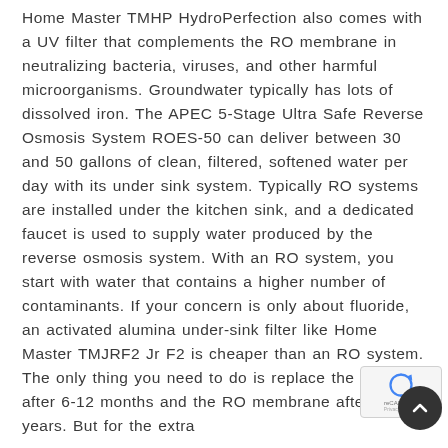Home Master TMHP HydroPerfection also comes with a UV filter that complements the RO membrane in neutralizing bacteria, viruses, and other harmful microorganisms. Groundwater typically has lots of dissolved iron. The APEC 5-Stage Ultra Safe Reverse Osmosis System ROES-50 can deliver between 30 and 50 gallons of clean, filtered, softened water per day with its under sink system. Typically RO systems are installed under the kitchen sink, and a dedicated faucet is used to supply water produced by the reverse osmosis system. With an RO system, you start with water that contains a higher number of contaminants. If your concern is only about fluoride, an activated alumina under-sink filter like Home Master TMJRF2 Jr F2 is cheaper than an RO system. The only thing you need to do is replace the filters after 6-12 months and the RO membrane after 2-3 years. But for the extra